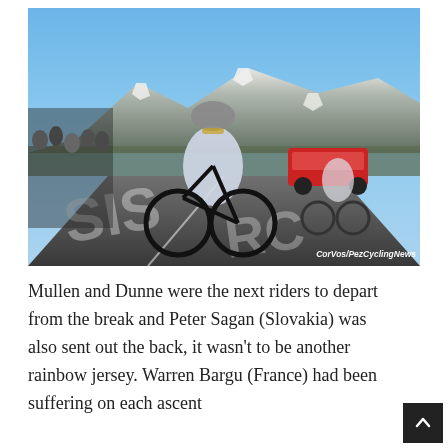[Figure (photo): A cyclist in a white and blue jersey and grey helmet rides a black road bike up a mountain road during a race. Spectators line the left side. Behind him follow other riders and a red support vehicle. Snow-capped mountains and blue sky are visible in the background. White chalk writing is visible on the road surface. A watermark reads 'CorVos/PezCyclingNews' in the lower right corner.]
Mullen and Dunne were the next riders to depart from the break and Peter Sagan (Slovakia) was also sent out the back, it wasn't to be another rainbow jersey. Warren Bargu (France) had been suffering on each ascent